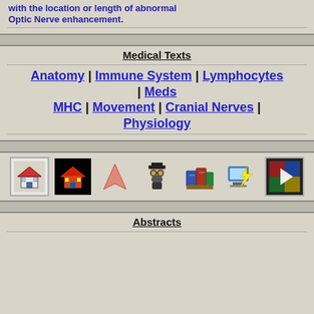with the location or length of abnormal Optic Nerve enhancement.
Medical Texts
Anatomy | Immune System | Lymphocytes | Meds MHC | Movement | Cranial Nerves | Physiology
[Figure (illustration): Row of 7 navigation icons: house icon with gray border, house on black background, pink arrow/triangle, cartoon figure with hat, books/references icon, computer with lightning bolt, colorful play button icon]
Abstracts